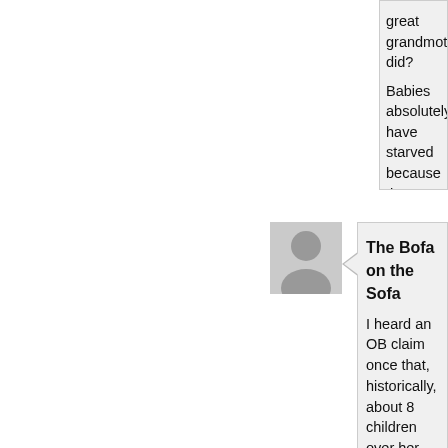great grandmother did? Babies absolutely have starved because the animal milk saved many of them, and now w
The Bofa on the Sofa
I heard an OB claim once that, historically, about 8 children over her lifetime and 5
Who knows what the cause of those 3 d malnutrition due to inability to sufficiently
Regardless, 3/8 dying is an awful lot of w
“If it didn't work, none of us would be he
KarenJJ
And even then, 80-90% of women woul
The rest of the women?
This type of all or nothing thinking in reg